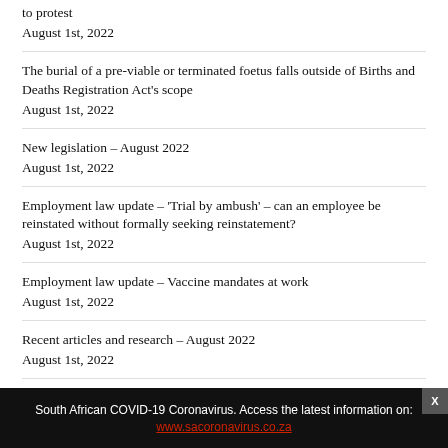to protest
August 1st, 2022
The burial of a pre-viable or terminated foetus falls outside of Births and Deaths Registration Act’s scope
August 1st, 2022
New legislation – August 2022
August 1st, 2022
Employment law update – ‘Trial by ambush’ – can an employee be reinstated without formally seeking reinstatement?
August 1st, 2022
Employment law update – Vaccine mandates at work
August 1st, 2022
Recent articles and research – August 2022
August 1st, 2022
Understanding economic abuse from a domestic violence perspective
August 1st, 2022
Letters to the editor – July 2022
South African COVID-19 Coronavirus. Access the latest information on: www.sacoronavirus.co.za